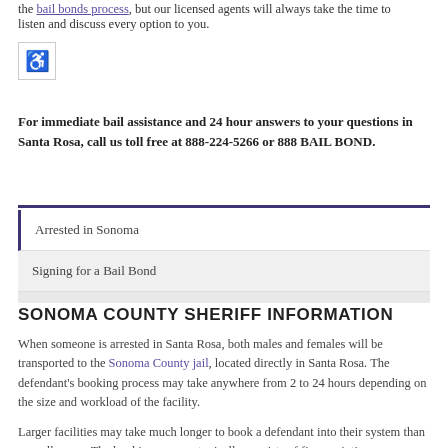the bail bonds process, but our licensed agents will always take the time to listen and discuss every option to you.
[Figure (other): Accessibility icon (wheelchair symbol)]
For immediate bail assistance and 24 hour answers to your questions in Santa Rosa, call us toll free at 888-224-5266 or 888 BAIL BOND.
Arrested in Sonoma
Signing for a Bail Bond
Paying for Santa Rosa Bail Bonds
SONOMA COUNTY SHERIFF INFORMATION
When someone is arrested in Santa Rosa, both males and females will be transported to the Sonoma County jail, located directly in Santa Rosa. The defendant's booking process may take anywhere from 2 to 24 hours depending on the size and workload of the facility.
Larger facilities may take much longer to book a defendant into their system than a smaller one. The booking process typically consists of fingerprinting, photographs, background checks and entering the inmate...